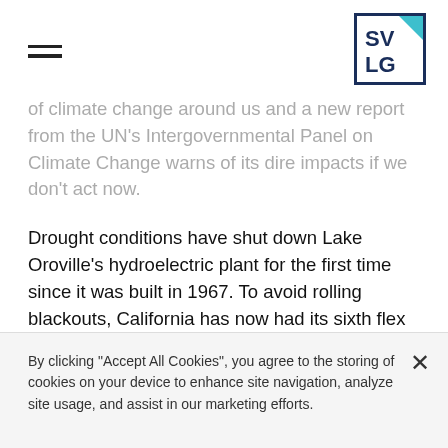SVLG logo and navigation
of climate change around us and a new report from the UN's Intergovernmental Panel on Climate Change warns of its dire impacts if we don't act now.
Drought conditions have shut down Lake Oroville's hydroelectric plant for the first time since it was built in 1967. To avoid rolling blackouts, California has now had its sixth flex alert of 2021. And just a few hours north of the EV capital of America, the largest single wildfire in California history is burning – right now.
It's definitely been a week of climate change highs and
By clicking "Accept All Cookies", you agree to the storing of cookies on your device to enhance site navigation, analyze site usage, and assist in our marketing efforts.